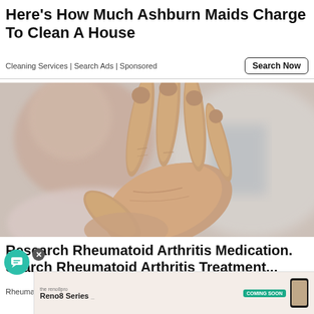Here's How Much Ashburn Maids Charge To Clean A House
Cleaning Services | Search Ads | Sponsored
[Figure (photo): Close-up photo of an elderly woman holding up her hand showing arthritic fingers, with a blurred face in the background]
Research Rheumatoid Arthritis Medication. Search Rheumatoid Arthritis Treatment...
Rheumatoid Arthritis Treatment | Yahoo Search | Sponsored